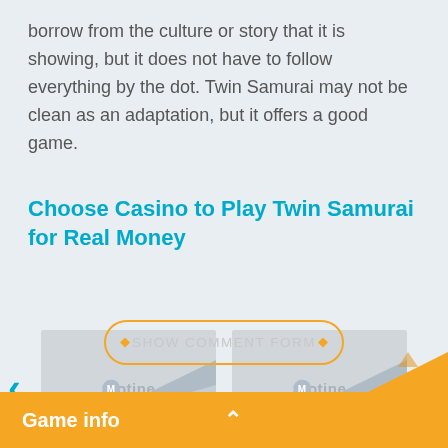borrow from the culture or story that it is showing, but it does not have to follow everything by the dot. Twin Samurai may not be clean as an adaptation, but it offers a good game.
Choose Casino to Play Twin Samurai for Real Money
[Figure (screenshot): Two casino placeholder image cards side by side with SlotMine watermark, flanked by left and right navigation arrows in teal]
[Figure (illustration): Show Comment Form button with orange rounded border and diamond decorations]
Game info